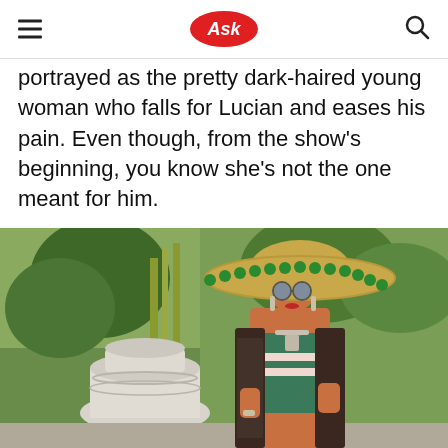Ask
portrayed as the pretty dark-haired young woman who falls for Lucian and eases his pain. Even though, from the show’s beginning, you know she’s not the one meant for him.
[Figure (photo): A dark-haired woman wearing a large wide-brimmed straw hat with green pom-pom trim and round blue sunglasses, dressed in a teal/green halter top with pink and white stripes and a dark lace kimono wrap, with a statement necklace, posing outdoors near a white stone urn planter with tropical greenery in the background.]